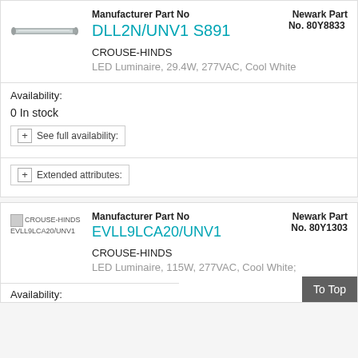[Figure (photo): Product image of DLL2N/UNV1 S891 LED luminaire fixture, shown as a long slim silver tube/bar shape]
Manufacturer Part No
DLL2N/UNV1 S891
Newark Part No. 77Y8833
CROUSE-HINDS
LED Luminaire, 29.4W, 277VAC, Cool White
Availability:
0 In stock
+ See full availability:
+ Extended attributes:
[Figure (photo): Broken/placeholder image icon for CROUSE-HINDS EVLL9LCA20/UNV1 product]
Manufacturer Part No
EVLL9LCA20/UNV1
Newark Part No. 80Y1303
CROUSE-HINDS
LED Luminaire, 115W, 277VAC, Cool White;
Availability: